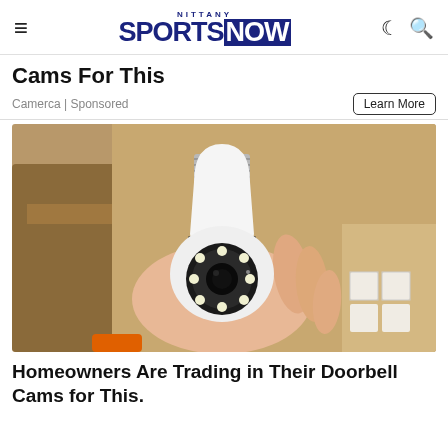NITTANY SPORTS NOW
Cams For This
Camerca | Sponsored
[Figure (photo): A hand holding a light bulb-shaped security camera with a wide-angle lens and LED lights, shown against a cardboard box background]
Homeowners Are Trading in Their Doorbell Cams for This.